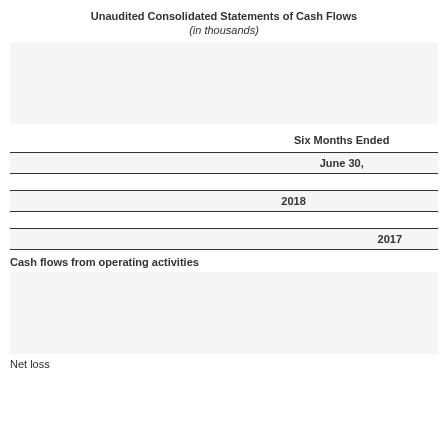Unaudited Consolidated Statements of Cash Flows
(in thousands)
|  | Six Months Ended June 30, 2018 | Six Months Ended June 30, 2017 |
| --- | --- | --- |
| Cash flows from operating activities |  |  |
| Net loss |  |  |